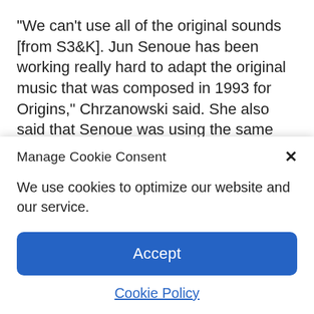“We can’t use all of the original sounds [from S3&K]. Jun Senoue has been working really hard to adapt the original music that was composed in 1993 for Origins,” Chrzanowski said. She also said that Senoue was using the same sound chip from the Genesis to reproduce faithful recreations of parts of the Sonic 3 & Knuckles soundtrack.
Manage Cookie Consent
We use cookies to optimize our website and our service.
Accept
Cookie Policy